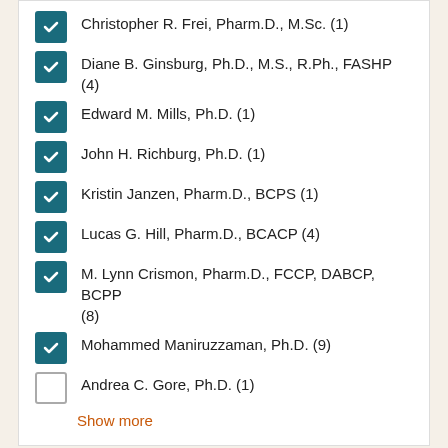Christopher R. Frei, Pharm.D., M.Sc. (1)
Diane B. Ginsburg, Ph.D., M.S., R.Ph., FASHP (4)
Edward M. Mills, Ph.D. (1)
John H. Richburg, Ph.D. (1)
Kristin Janzen, Pharm.D., BCPS (1)
Lucas G. Hill, Pharm.D., BCACP (4)
M. Lynn Crismon, Pharm.D., FCCP, DABCP, BCPP (8)
Mohammed Maniruzzaman, Ph.D. (9)
Andrea C. Gore, Ph.D. (1)
Show more
Filter by news tag
Molecular Pharmaceutics and Drug Delivery (6)